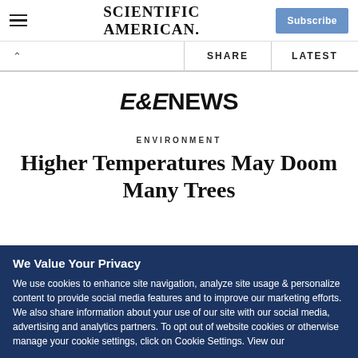SCIENTIFIC AMERICAN
SHARE    LATEST
[Figure (logo): E&E NEWS logo in bold serif/sans font]
ENVIRONMENT
Higher Temperatures May Doom Many Trees
We Value Your Privacy
We use cookies to enhance site navigation, analyze site usage & personalize content to provide social media features and to improve our marketing efforts. We also share information about your use of our site with our social media, advertising and analytics partners. To opt out of website cookies or otherwise manage your cookie settings, click on Cookie Settings. View our